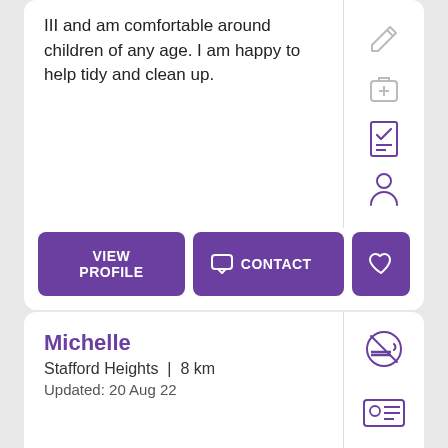III and am comfortable around children of any age. I am happy to help tidy and clean up.
[Figure (illustration): Pencil/edit icon (grey outline)]
[Figure (illustration): First aid kit / medical bag icon (grey outline)]
[Figure (illustration): Checklist / verified document icon (purple outline)]
[Figure (illustration): Person / profile silhouette icon (purple outline)]
VIEW PROFILE
CONTACT
[Figure (illustration): Heart icon (white outline on purple button)]
Michelle
Stafford Heights  |  8 km
Updated: 20 Aug 22
[Figure (illustration): No smoking icon (purple outline circle with cigarette crossed out)]
[Figure (illustration): ID card / identification icon (purple outline)]
[Figure (illustration): Car / vehicle icon (grey outline, partially visible)]